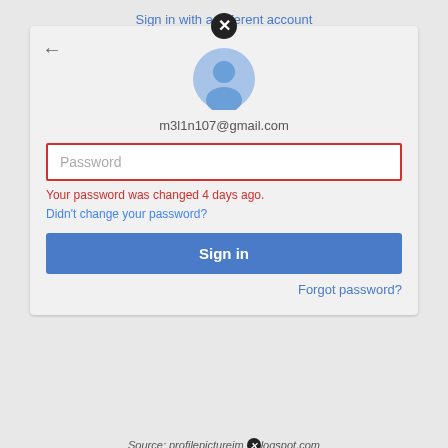[Figure (screenshot): Google account sign-in page screenshot showing avatar, email, password field with error, sign in button, and Google product icons]
m3l1n107@gmail.com
Password
Your password was changed 4 days ago.
Didn't change your password?
Sign in
Forgot password?
Sign in with a different account
One Google Account for everything Google
Source: profilepictureim logspot.com